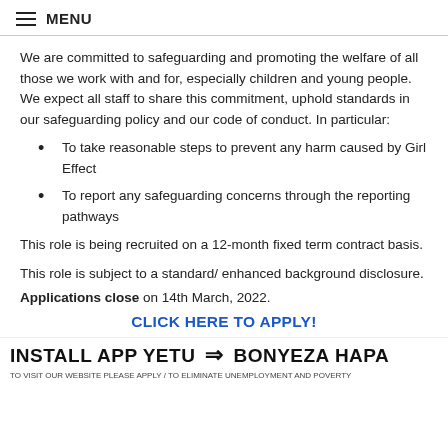≡ MENU
We are committed to safeguarding and promoting the welfare of all those we work with and for, especially children and young people. We expect all staff to share this commitment, uphold standards in our safeguarding policy and our code of conduct. In particular:
To take reasonable steps to prevent any harm caused by Girl Effect
To report any safeguarding concerns through the reporting pathways
This role is being recruited on a 12-month fixed term contract basis.
This role is subject to a standard/ enhanced background disclosure.
Applications close on 14th March, 2022.
CLICK HERE TO APPLY!
INSTALL APP YETU ⇒ BONYEZA HAPA